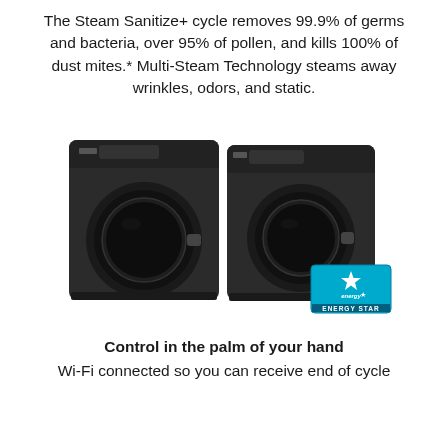The Steam Sanitize+ cycle removes 99.9% of germs and bacteria, over 95% of pollen, and kills 100% of dust mites.* Multi-Steam Technology steams away wrinkles, odors, and static.
[Figure (photo): Two Samsung front-load washer and dryer units in black finish, side by side. An Energy Star badge appears in the lower right corner.]
Control in the palm of your hand
Wi-Fi connected so you can receive end of cycle